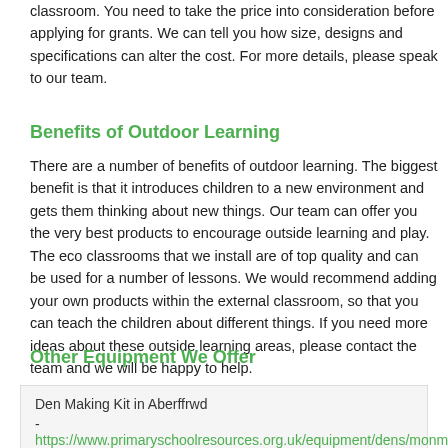classroom. You need to take the price into consideration before applying for grants. We can tell you how size, designs and specifications can alter the cost. For more details, please speak to our team.
Benefits of Outdoor Learning
There are a number of benefits of outdoor learning. The biggest benefit is that it introduces children to a new environment and gets them thinking about new things. Our team can offer you the very best products to encourage outside learning and play. The eco classrooms that we install are of top quality and can be used for a number of lessons. We would recommend adding your own products within the external classroom, so that you can teach the children about different things. If you need more ideas about these outside learning areas, please contact the team and we will be happy to help.
Other Equipment We Offer
Den Making Kit in Aberffrwd
- https://www.primaryschoolresources.org.uk/equipment/dens/monm